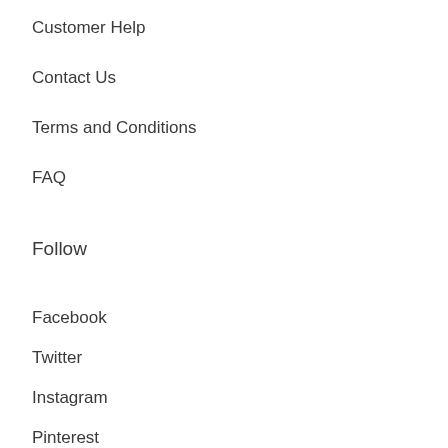Customer Help
Contact Us
Terms and Conditions
FAQ
Follow
Facebook
Twitter
Instagram
Pinterest
Sign Up